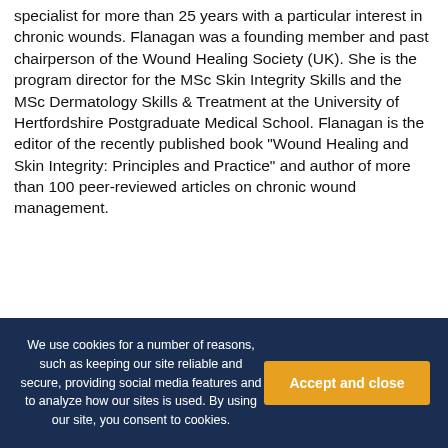specialist for more than 25 years with a particular interest in chronic wounds. Flanagan was a founding member and past chairperson of the Wound Healing Society (UK). She is the program director for the MSc Skin Integrity Skills and the MSc Dermatology Skills & Treatment at the University of Hertfordshire Postgraduate Medical School. Flanagan is the editor of the recently published book "Wound Healing and Skin Integrity: Principles and Practice" and author of more than 100 peer-reviewed articles on chronic wound management.
Comment:
We use cookies for a number of reasons, such as keeping our site reliable and secure, providing social media features and to analyze how our sites is used. By using our site, you consent to cookies.